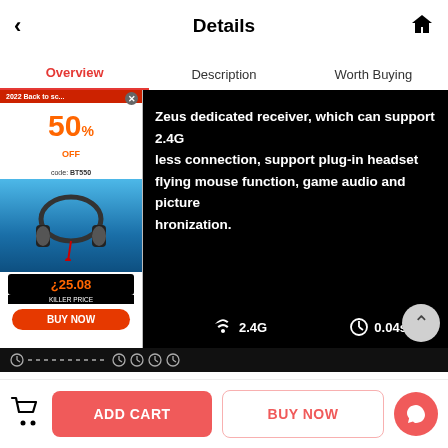Details
Overview | Description | Worth Buying
[Figure (screenshot): E-commerce product detail page showing a headset product image on black background with white bold text: 'Zeus dedicated receiver, which can support 2.4G less connection, support plug-in headset flying mouse function, game audio and picture hronization.' An advertisement popup overlay on the left shows '50% OFF code: BT550' with a headset image, price '¿25.08', 'KILLER PRICE', and 'BUY NOW' button. Bottom of image shows Bluetooth, 2.4G, and 0.04s icons in white.]
ADD CART
BUY NOW